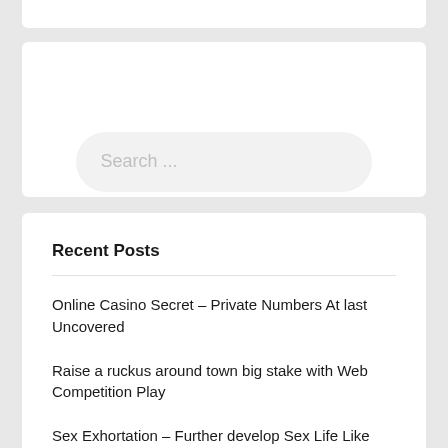[Figure (screenshot): Search input field with rounded corners and placeholder text 'Search ...']
Recent Posts
Online Casino Secret – Private Numbers At last Uncovered
Raise a ruckus around town big stake with Web Competition Play
Sex Exhortation – Further develop Sex Life Like Game Competitor